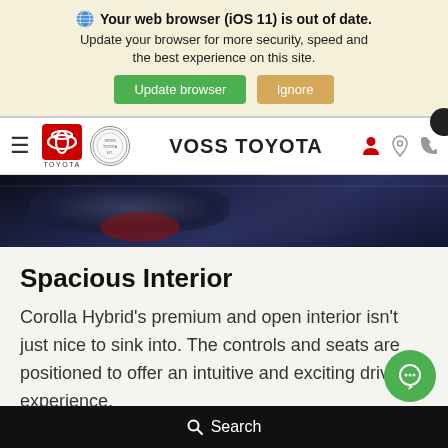🌐 Your web browser (iOS 11) is out of date. Update your browser for more security, speed and the best experience on this site.
[Figure (screenshot): Browser update warning banner with 'Update browser' green button and 'Ignore' tan button]
[Figure (logo): Voss Toyota dealership navigation bar with Toyota logo, seal, hamburger menu, and icons]
[Figure (photo): Dark car interior photo showing seat and door panel]
Spacious Interior
Corolla Hybrid's premium and open interior isn't just nice to sink into. The controls and seats are positioned to offer an intuitive and exciting driving experience.
🔍 Search